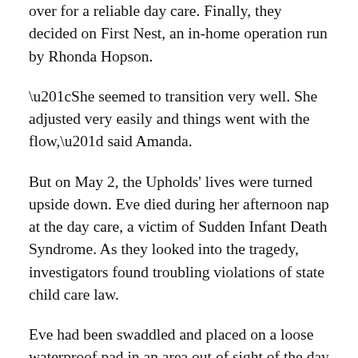over for a reliable day care. Finally, they decided on First Nest, an in-home operation run by Rhonda Hopson.
“She seemed to transition very well. She adjusted very easily and things went with the flow,” said Amanda.
But on May 2, the Upholds' lives were turned upside down. Eve died during her afternoon nap at the day care, a victim of Sudden Infant Death Syndrome. As they looked into the tragedy, investigators found troubling violations of state child care law.
Eve had been swaddled and placed on a loose waterproof pad in an area out of sight of the day care provider who didn’t check in on her for at least an hour, problems Hopson had been warned about